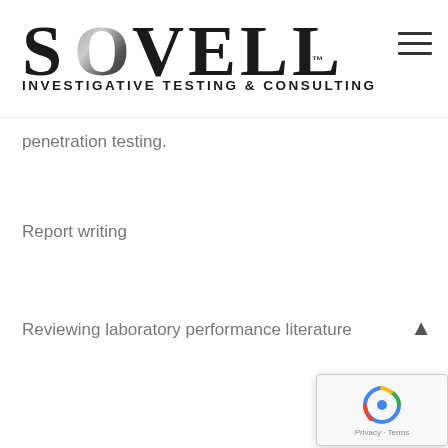SOVELL INVESTIGATIVE TESTING & CONSULTING
penetration testing.
Report writing
Reviewing laboratory performance literature